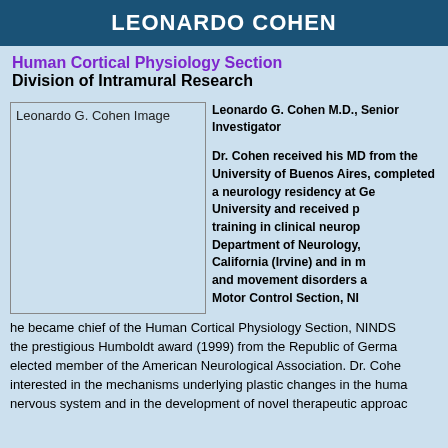LEONARDO COHEN
Human Cortical Physiology Section
Division of Intramural Research
[Figure (photo): Leonardo G. Cohen Image placeholder]
Leonardo G. Cohen M.D., Senior Investigator

Dr. Cohen received his MD from the University of Buenos Aires, completed a neurology residency at Georgetown University and received post-doctoral training in clinical neurophysiology at the Department of Neurology, University of California (Irvine) and in motor control and movement disorders at the Human Motor Control Section, NINDS. Then he became chief of the Human Cortical Physiology Section, NINDS. He received the prestigious Humboldt award (1999) from the Republic of Germany and is an elected member of the American Neurological Association. Dr. Cohen is interested in the mechanisms underlying plastic changes in the human nervous system and in the development of novel therapeutic approaches